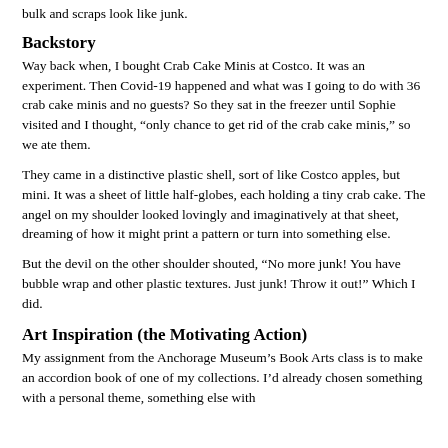bulk and scraps look like junk.
Backstory
Way back when, I bought Crab Cake Minis at Costco. It was an experiment. Then Covid-19 happened and what was I going to do with 36 crab cake minis and no guests? So they sat in the freezer until Sophie visited and I thought, “only chance to get rid of the crab cake minis,” so we ate them.
They came in a distinctive plastic shell, sort of like Costco apples, but mini. It was a sheet of little half-globes, each holding a tiny crab cake. The angel on my shoulder looked lovingly and imaginatively at that sheet, dreaming of how it might print a pattern or turn into something else.
But the devil on the other shoulder shouted, “No more junk! You have bubble wrap and other plastic textures. Just junk! Throw it out!” Which I did.
Art Inspiration (the Motivating Action)
My assignment from the Anchorage Museum’s Book Arts class is to make an accordion book of one of my collections. I’d already chosen something with a personal theme, something else with